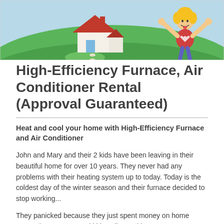[Figure (illustration): Colorful cartoon illustration showing a green grassy hill with a house and a happy blonde woman celebrating with arms raised.]
High-Efficiency Furnace, Air Conditioner Rental (Approval Guaranteed)
Heat and cool your home with High-Efficiency Furnace and Air Conditioner
John and Mary and their 2 kids have been leaving in their beautiful home for over 10 years. They never had any problems with their heating system up to today. Today is the coldest day of the winter season and their furnace decided to stop working...
They panicked because they just spent money on home renovation, new car and kids college tuition.
But they found a great solution at DeMark Home Ontario and rented a new high-efficiency furnace, Air Conditioner Rental